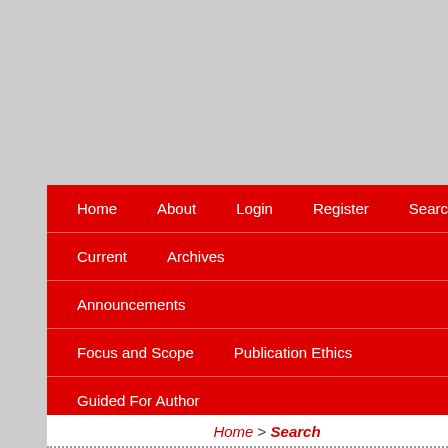Home   About   Login   Register   Search
Current   Archives
Announcements
Focus and Scope   Publication Ethics
Guided For Author
Home > Search